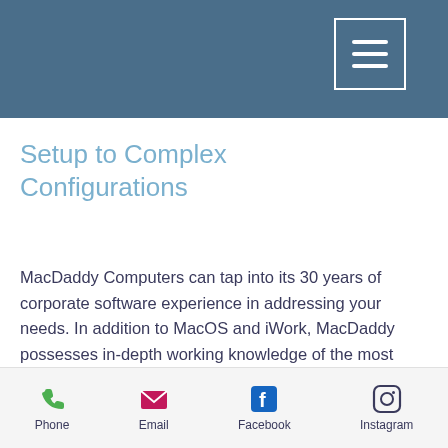Setup to Complex Configurations
MacDaddy Computers can tap into its 30 years of corporate software experience in addressing your needs. In addition to MacOS and iWork, MacDaddy possesses in-depth working knowledge of the most important corporate software packages, from the Adobe Creative Suite line of applications on through to the Microsoft Office Suite for both the Macintosh and Windows. This includes the “pro” line of Apple software applications like Logic Pro and Final Cut. With many years of
Phone  Email  Facebook  Instagram